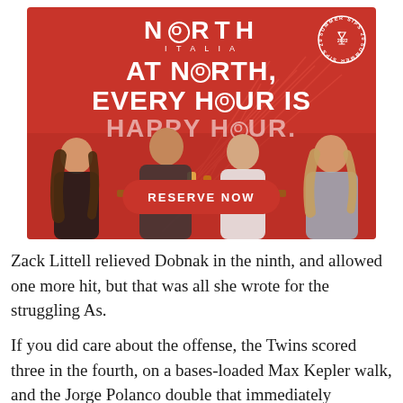[Figure (photo): North Italia restaurant advertisement on red background. Shows 'NORTH ITALIA' logo at top center, 'Summer Sips 2022' circular badge at top right with martini glass icon. Large white bold text reads 'AT NORTH, EVERY HOUR IS HAPPY HOUR.' Below is a photo of four people dining together at a restaurant booth, laughing and enjoying drinks. A red rounded-rectangle button at the bottom reads 'RESERVE NOW' in white bold text.]
Zack Littell relieved Dobnak in the ninth, and allowed one more hit, but that was all she wrote for the struggling As.
If you did care about the offense, the Twins scored three in the fourth, on a bases-loaded Max Kepler walk, and the Jorge Polanco double that immediately